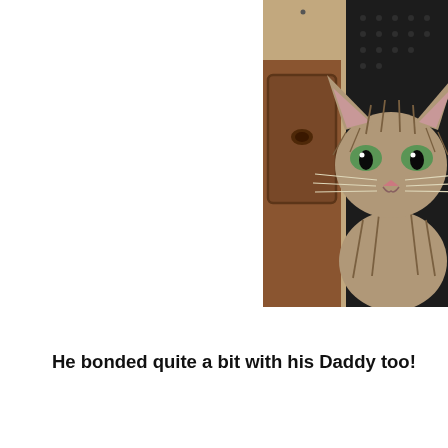[Figure (photo): A tabby cat sitting behind a printer/electronic device on a wooden dresser, with a black speaker and wooden furniture visible in the background. A watermark reads 'www.catchatwithcare' at the bottom of the image.]
He bonded quite a bit with his Daddy too!
[Figure (photo): Partial view of a person's head (blonde hair) at the bottom of the page, cropped.]